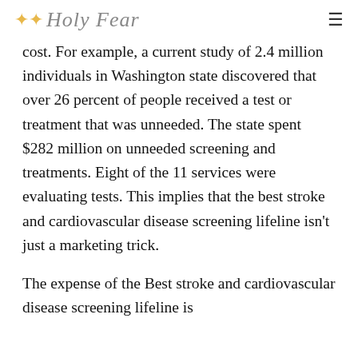Holy Fear
cost. For example, a current study of 2.4 million individuals in Washington state discovered that over 26 percent of people received a test or treatment that was unneeded. The state spent $282 million on unneeded screening and treatments. Eight of the 11 services were evaluating tests. This implies that the best stroke and cardiovascular disease screening lifeline isn't just a marketing trick.
The expense of the Best stroke and cardiovascular disease screening lifeline is